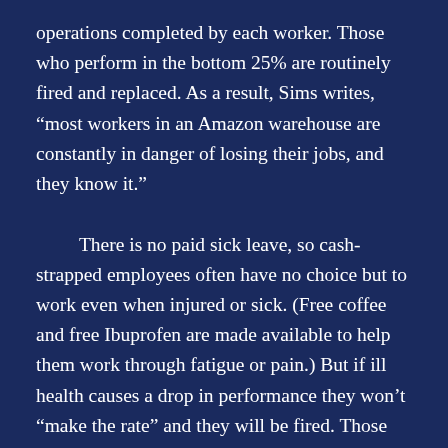operations completed by each worker. Those who perform in the bottom 25% are routinely fired and replaced. As a result, Sims writes, “most workers in an Amazon warehouse are constantly in danger of losing their jobs, and they know it.”

There is no paid sick leave, so cash-strapped employees often have no choice but to work even when injured or sick. (Free coffee and free Ibuprofen are made available to help them work through fatigue or pain.) But if ill health causes a drop in performance they won’t “make the rate” and they will be fired. Those who are exceptionally physically fit, and who seldom get sick, are still likely to be worn down by the relentless pace eventually.

To replace workers, Sims says, “the company has